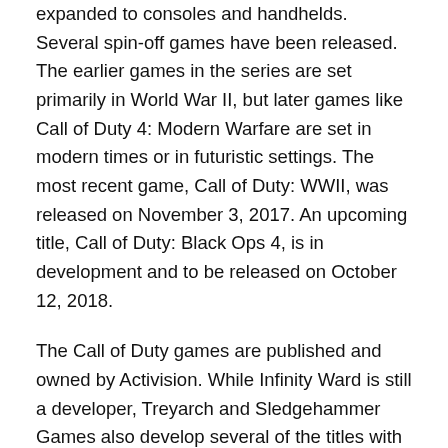expanded to consoles and handhelds. Several spin-off games have been released. The earlier games in the series are set primarily in World War II, but later games like Call of Duty 4: Modern Warfare are set in modern times or in futuristic settings. The most recent game, Call of Duty: WWII, was released on November 3, 2017. An upcoming title, Call of Duty: Black Ops 4, is in development and to be released on October 12, 2018.
The Call of Duty games are published and owned by Activision. While Infinity Ward is still a developer, Treyarch and Sledgehammer Games also develop several of the titles with the release of the studios' games alternating with each other. Some games have been developed by Gray Matter Interactive, Nokia, Exakt Entertainment, Spark Unlimited, Amaze Entertainment, n-Space, Aspyr, Rebellion Developments, Ideaworks Game Studio, and nStigate Games. The games use a variety of engines, including the id Tech 3